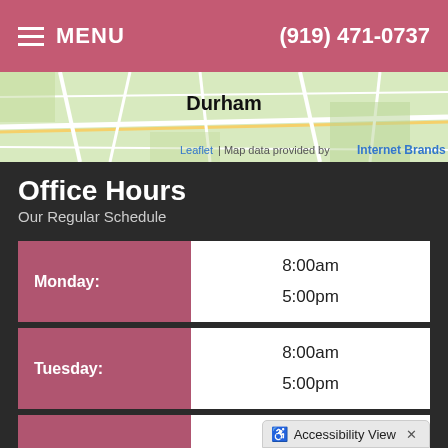MENU | (919) 471-0737
[Figure (map): Partial map showing Durham area with roads and Leaflet/Internet Brands attribution]
Office Hours
Our Regular Schedule
| Day | Hours |
| --- | --- |
| Monday: | 8:00am
5:00pm |
| Tuesday: | 8:00am
5:00pm |
| Wednesday: | 8:00am
5:00pm |
Accessibility View